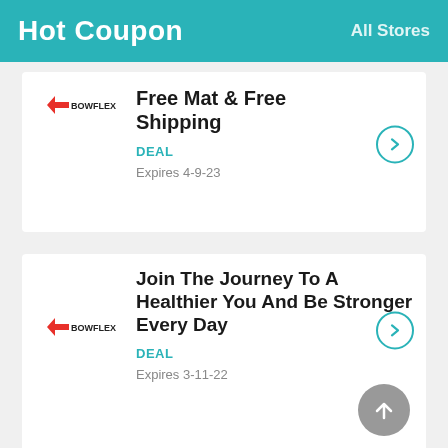Hot Coupon   All Stores
Free Mat & Free Shipping
DEAL
Expires 4-9-23
Join The Journey To A Healthier You And Be Stronger Every Day
DEAL
Expires 3-11-22
20% Discount Purchases